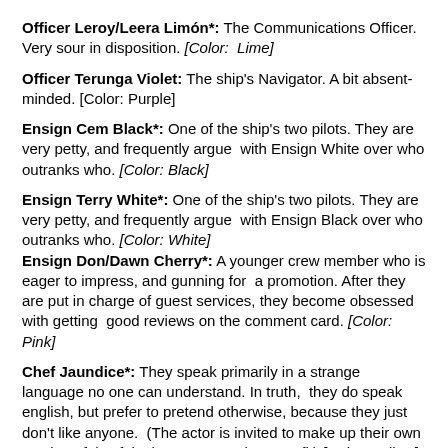Officer Leroy/Leera Limón*: The Communications Officer. Very sour in disposition. [Color: Lime]
Officer Terunga Violet: The ship's Navigator. A bit absent-minded. [Color: Purple]
Ensign Cem Black*: One of the ship's two pilots. They are very petty, and frequently argue with Ensign White over who outranks who. [Color: Black]
Ensign Terry White*: One of the ship's two pilots. They are very petty, and frequently argue with Ensign Black over who outranks who. [Color: White]
Ensign Don/Dawn Cherry*: A younger crew member who is eager to impress, and gunning for a promotion. After they are put in charge of guest services, they become obsessed with getting good reviews on the comment card. [Color: Pink]
Chef Jaundice*: They speak primarily in a strange language no one can understand. In truth, they do speak english, but prefer to pretend otherwise, because they just don't like anyone. (The actor is invited to make up their own version of the 'fake language' as they see fit) [Color: Yellow]